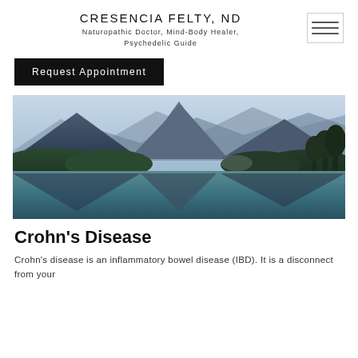CRESENCIA FELTY, ND
Naturopathic Doctor, Mind-Body Healer,
Psychedelic Guide
Request Appointment
[Figure (photo): Scenic landscape photograph of a mountain lake with reflections of forested mountains and dramatic peaks in the background under a hazy sky.]
Crohn's Disease
Crohn's disease is an inflammatory bowel disease (IBD). It is a disconnect from your